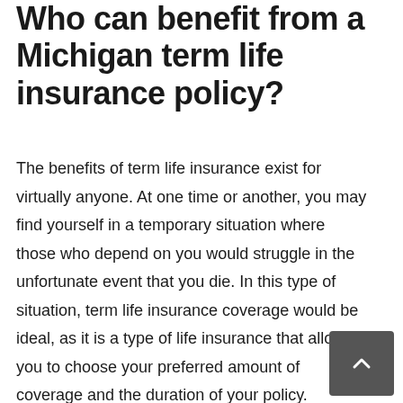Who can benefit from a Michigan term life insurance policy?
The benefits of term life insurance exist for virtually anyone. At one time or another, you may find yourself in a temporary situation where those who depend on you would struggle in the unfortunate event that you die. In this type of situation, term life insurance coverage would be ideal, as it is a type of life insurance that allows you to choose your preferred amount of coverage and the duration of your policy.